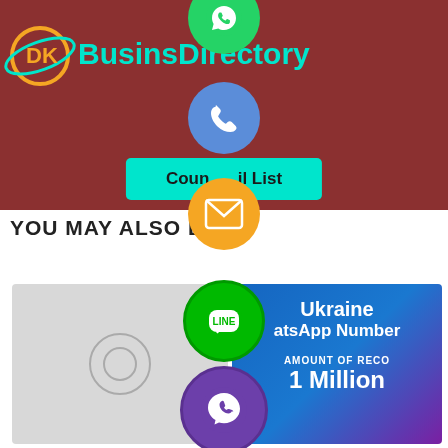[Figure (logo): DK BusinessDirectory logo with globe icon and cyan text on dark red background]
Country Email List
YOU MAY ALSO LIKE
[Figure (screenshot): Ukraine WhatsApp Number card showing 'AMOUNT OF RECORDS: 1 Million']
[Figure (infographic): Vertical stack of social media share buttons: WhatsApp (green), Phone/Call (blue), Email (orange), LINE (green), Viber (purple), Close X (green), WhatsApp (green partial)]